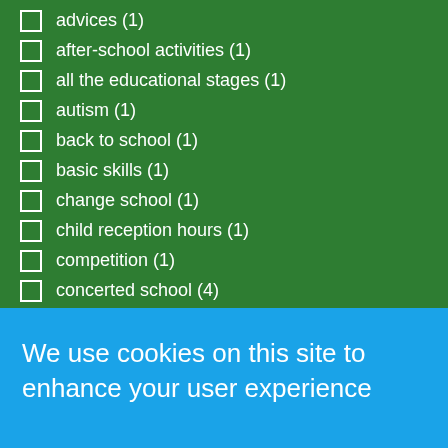advices (1)
after-school activities (1)
all the educational stages (1)
autism (1)
back to school (1)
basic skills (1)
change school (1)
child reception hours (1)
competition (1)
concerted school (4)
covid-19 (1)
covid 19 (8)
diversity (1)
We use cookies on this site to enhance your user experience